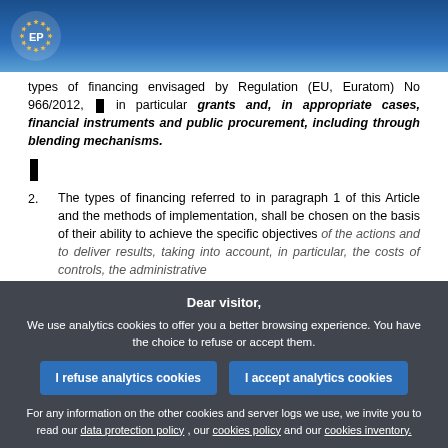European Parliament logo header
types of financing envisaged by Regulation (EU, Euratom) No 966/2012, ▌ in particular grants and, in appropriate cases, financial instruments and public procurement, including through blending mechanisms.
▌
2.  The types of financing referred to in paragraph 1 of this Article and the methods of implementation, shall be chosen on the basis of their ability to achieve the specific objectives of the actions and to deliver results, taking into account, in particular, the costs of controls, the administrative...
Dear visitor, We use analytics cookies to offer you a better browsing experience. You have the choice to refuse or accept them.
I refuse analytics cookies | I accept analytics cookies
For any information on the other cookies and server logs we use, we invite you to read our data protection policy , our cookies policy and our cookies inventory.
3. ...use...of...
4.  Member States shall appoint a project manager ▌. The Commission shall consult the project manager...